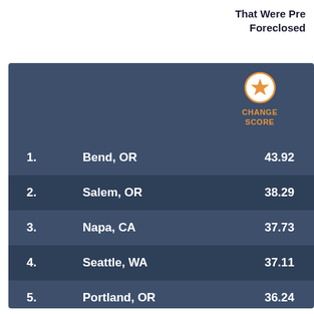That Were Pre Foreclosed
| Rank | City | Change Score |
| --- | --- | --- |
| 1. | Bend, OR | 43.92 |
| 2. | Salem, OR | 38.29 |
| 3. | Napa, CA | 37.73 |
| 4. | Seattle, WA | 37.11 |
| 5. | Portland, OR | 36.24 |
| 6. | San Francisco, CA | 36.17 |
| 7. | San Jose, CA | 35.30 |